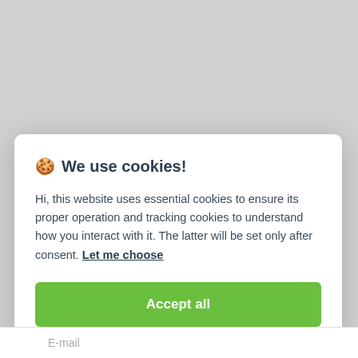🍪 We use cookies!
Hi, this website uses essential cookies to ensure its proper operation and tracking cookies to understand how you interact with it. The latter will be set only after consent. Let me choose
Accept all
Reject all
E-mail